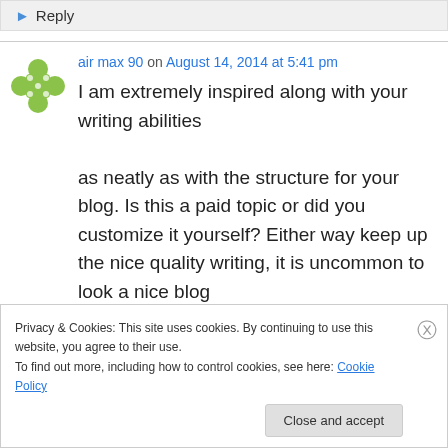Reply
air max 90 on August 14, 2014 at 5:41 pm
I am extremely inspired along with your writing abilities as neatly as with the structure for your blog. Is this a paid topic or did you customize it yourself? Either way keep up the nice quality writing, it is uncommon to look a nice blog like this one these days..
Privacy & Cookies: This site uses cookies. By continuing to use this website, you agree to their use. To find out more, including how to control cookies, see here: Cookie Policy
Close and accept